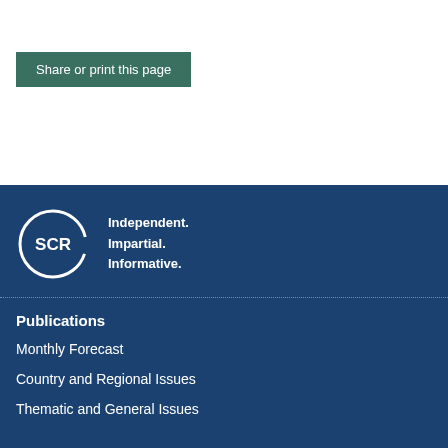Share or print this page
[Figure (logo): SCR logo — circular outline with SCR text inside, and tagline: Independent. Impartial. Informative.]
Publications
Monthly Forecast
Country and Regional Issues
Thematic and General Issues